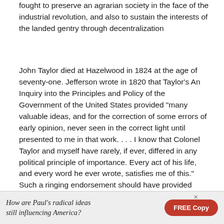fought to preserve an agrarian society in the face of the industrial revolution, and also to sustain the interests of the landed gentry through decentralization
John Taylor died at Hazelwood in 1824 at the age of seventy-one. Jefferson wrote in 1820 that Taylor’s An Inquiry into the Principles and Policy of the Government of the United States provided “many valuable ideas, and for the correction of some errors of early opinion, never seen in the correct light until presented to me in that work. . . . I know that Colonel Taylor and myself have rarely, if ever, differed in any political principle of importance. Every act of his life, and every word he ever wrote, satisfies me of this.” Such a ringing endorsement should have provided Taylor with a more substantial reputation.
[Figure (infographic): Advertisement banner: 'How are Paul's radical ideas still influencing America?' with a red FREE Copy button and an X close icon.]